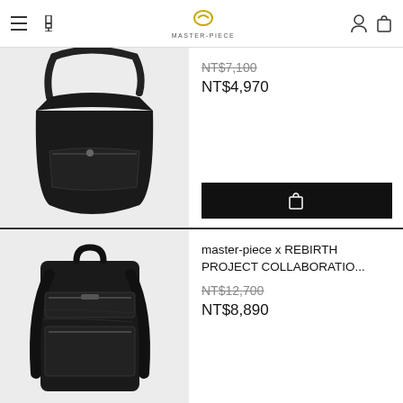master-piece logo header with navigation icons
[Figure (photo): Black nylon messenger/shoulder bag with front zipper pocket and adjustable strap on white background]
NT$7,100 (strikethrough) NT$4,970
[Figure (photo): Black backpack with multiple zipper compartments on white background]
master-piece x REBIRTH PROJECT COLLABORATIO... NT$12,700 (strikethrough) NT$8,890